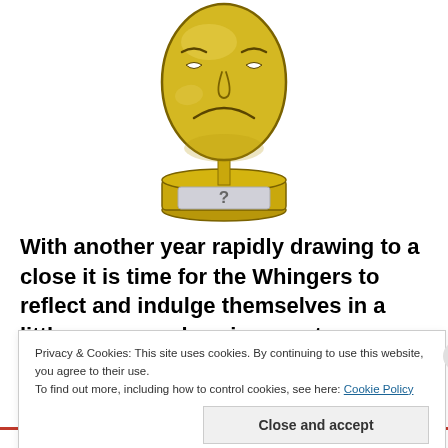[Figure (illustration): Gold theater/drama mask trophy on a pedestal with a question mark label on the base. The mask shows a sad/tragedy expression.]
With another year rapidly drawing to a close it is time for the Whingers to reflect and indulge themselves in a little more navel gazing – not our own navels, as that would be
Privacy & Cookies: This site uses cookies. By continuing to use this website, you agree to their use.
To find out more, including how to control cookies, see here: Cookie Policy
Close and accept